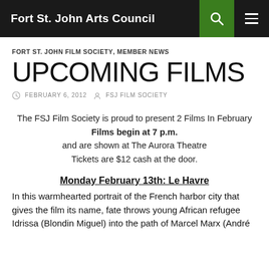Fort St. John Arts Council
FORT ST. JOHN FILM SOCIETY, MEMBER NEWS
UPCOMING FILMS
FEBRUARY 6, 2012  FSJ FILM SOCIETY
The FSJ Film Society is proud to present 2 Films In February
Films begin at 7 p.m.
and are shown at The Aurora Theatre
Tickets are $12 cash at the door.
Monday February 13th: Le Havre
In this warmhearted portrait of the French harbor city that gives the film its name, fate throws young African refugee Idrissa (Blondin Miguel) into the path of Marcel Marx (André